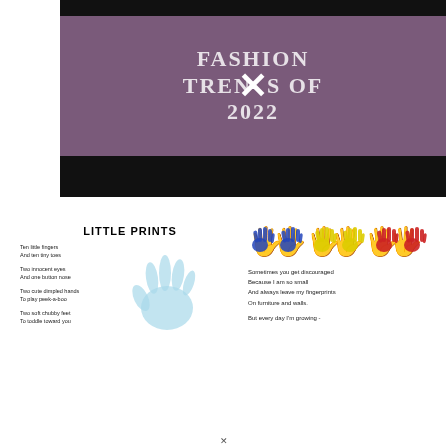media.
[Figure (screenshot): Video thumbnail showing 'FASHION TRENDS OF 2022' text with an X mark overlay on a purple/dark background]
LITTLE PRINTS
Ten little fingers
And ten tiny toes

Two innocent eyes
And one button nose

Two cute dimpled hands
To play peek-a-boo

Two soft chubby feet
To toddle toward you
[Figure (illustration): Light blue handprint illustration]
[Figure (illustration): Row of colorful handprint icons - blue pair, yellow pair, red pair]
Sometimes you get discouraged
Because I am so small
And always leave my fingerprints
On furniture and walls.

But every day I'm growing -
X